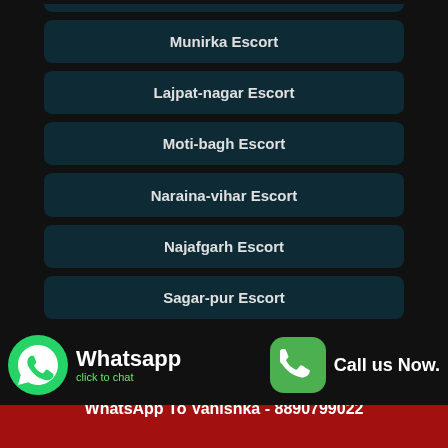Munirka Escort
Lajpat-nagar Escort
Moti-bagh Escort
Naraina-vihar Escort
Najafgarh Escort
Sagar-pur Escort
Vasant-vihar Escort
Whatsapp click to chat
Call us Now.
Call Vanishka Now - 8890799022
WhatsApp To Vanishka - 8890799022